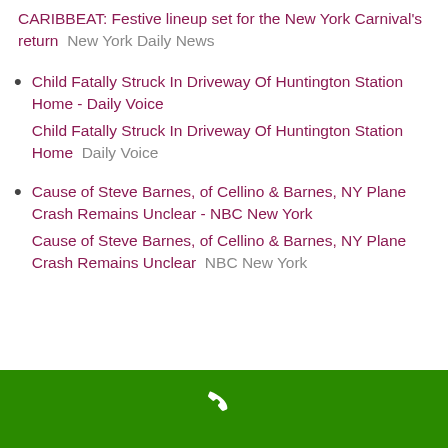CARIBBEAT: Festive lineup set for the New York Carnival's return  New York Daily News
Child Fatally Struck In Driveway Of Huntington Station Home - Daily Voice
Child Fatally Struck In Driveway Of Huntington Station Home  Daily Voice
Cause of Steve Barnes, of Cellino & Barnes, NY Plane Crash Remains Unclear - NBC New York
Cause of Steve Barnes, of Cellino & Barnes, NY Plane Crash Remains Unclear  NBC New York
[Figure (other): Green navigation bar at bottom with a white phone/call icon in the center]